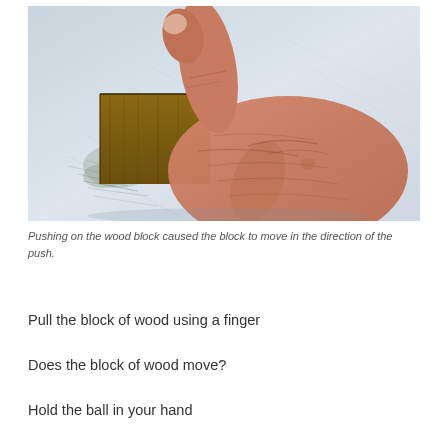[Figure (photo): A close-up photograph of an elderly hand with one finger pointing/pushing against a small wooden block resting on a light-colored surface with scattered fine debris around it.]
Pushing on the wood block caused the block to move in the direction of the push.
Pull the block of wood using a finger
Does the block of wood move?
Hold the ball in your hand